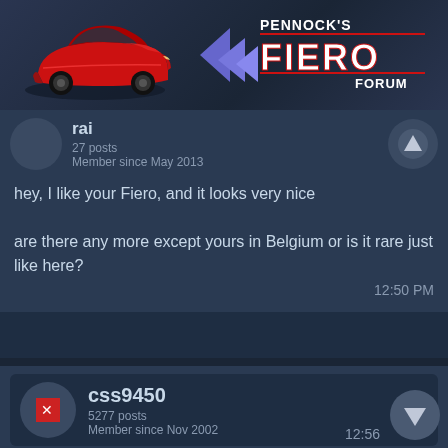[Figure (logo): Pennock's Fiero Forum logo with red Pontiac Fiero car on left and stylized triangular logo with PENNOCK'S FIERO FORUM text on right]
rai
27 posts
Member since May 2013
hey, I like your Fiero, and it looks very nice

are there any more except yours in Belgium or is it rare just like here?
12:50 PM
css9450
5277 posts
Member since Nov 2002
Mmmmm, I like that a lot! Its almost identical to mine - medium red metallic, black wheels, gray interior.... Only difference is mine lacks the sunroof and rear wing.
12:56 PM